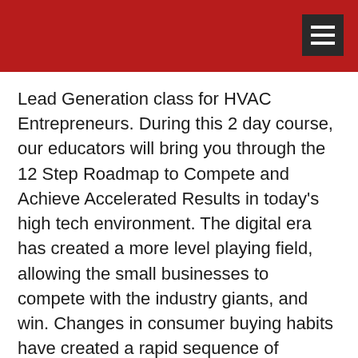Lead Generation class for HVAC Entrepreneurs. During this 2 day course, our educators will bring you through the 12 Step Roadmap to Compete and Achieve Accelerated Results in today’s high tech environment. The digital era has created a more level playing field, allowing the small businesses to compete with the industry giants, and win. Changes in consumer buying habits have created a rapid sequence of technology and marketing trends and compliance requirements for business owners technology, marketing, and overall strategic approach.
Get Organized: